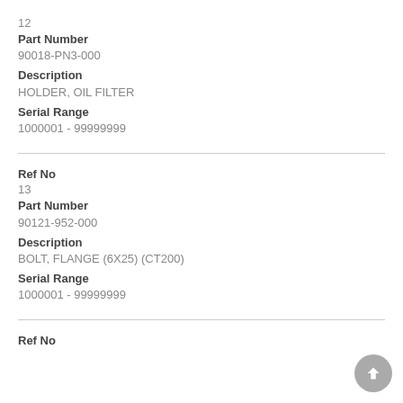12
Part Number
90018-PN3-000
Description
HOLDER, OIL FILTER
Serial Range
1000001 - 99999999
Ref No
13
Part Number
90121-952-000
Description
BOLT, FLANGE (6X25) (CT200)
Serial Range
1000001 - 99999999
Ref No